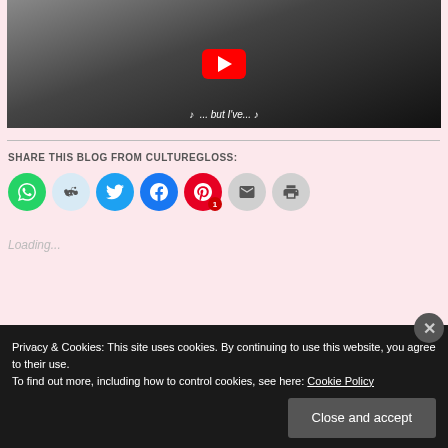[Figure (screenshot): YouTube video thumbnail showing a black and white photo with a red YouTube play button overlay and caption text '♪ ... but I've...']
SHARE THIS BLOG FROM CULTUREGLOSS:
[Figure (infographic): Row of social sharing buttons: WhatsApp (green), Reddit (light blue), Twitter (blue), Facebook (blue), Pinterest (red with badge '1'), Email (gray), Print (gray)]
Loading...
Privacy & Cookies: This site uses cookies. By continuing to use this website, you agree to their use. To find out more, including how to control cookies, see here: Cookie Policy
Close and accept